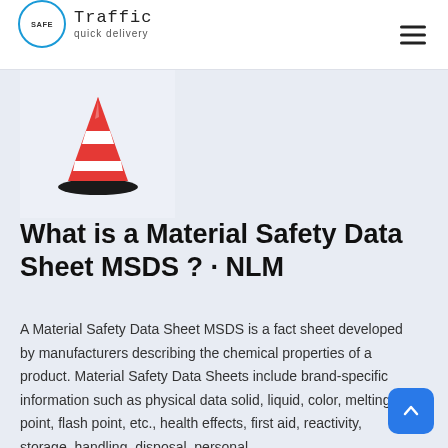Traffic quick delivery
[Figure (illustration): Red and white traffic safety cone on a white/light background box]
What is a Material Safety Data Sheet MSDS ? · NLM
A Material Safety Data Sheet MSDS is a fact sheet developed by manufacturers describing the chemical properties of a product. Material Safety Data Sheets include brand-specific information such as physical data solid, liquid, color, melting point, flash point, etc., health effects, first aid, reactivity, storage, handling, disposal, personal